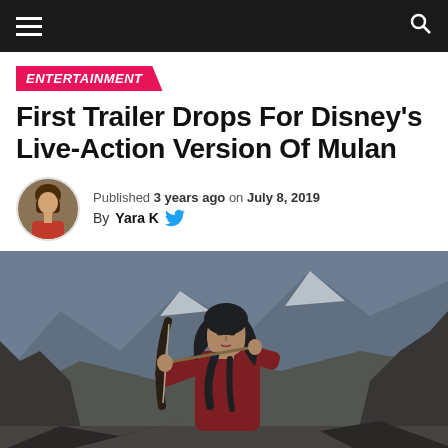Navigation bar with hamburger menu and search icon
ENTERTAINMENT
First Trailer Drops For Disney's Live-Action Version Of Mulan
Published 3 years ago on July 8, 2019
By Yara K
[Figure (photo): Promotional still from Disney's live-action Mulan film showing a young woman in red costume drawing a bow and arrow, rocky mountainous terrain in the background with snow-capped peaks.]